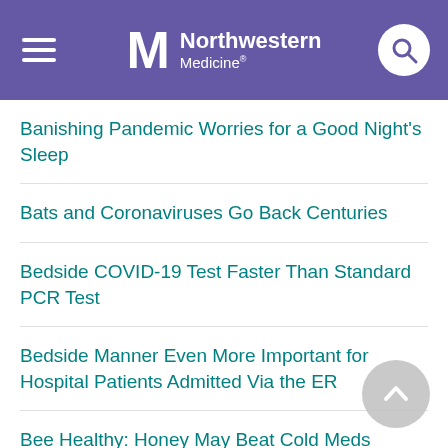Northwestern Medicine
Banishing Pandemic Worries for a Good Night's Sleep
Bats and Coronaviruses Go Back Centuries
Bedside COVID-19 Test Faster Than Standard PCR Test
Bedside Manner Even More Important for Hospital Patients Admitted Via the ER
Bee Healthy: Honey May Beat Cold Meds Against Cough
Benefits of Social Distancing Outweigh Economic Toll: Study
Beware of Hand Sanitizers Containing Methanol
Beware of 'Media Overload' During Coronavirus Crisis, Experts Say